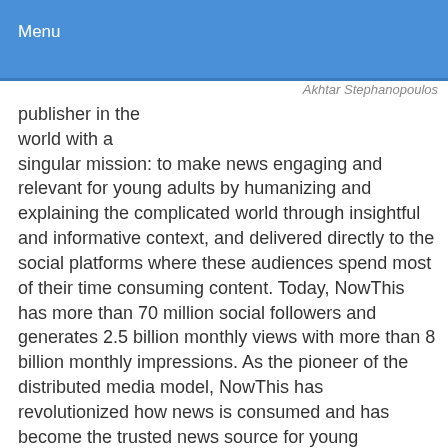Menu
Akhtar Stephanopoulos
publisher in the world with a singular mission: to make news engaging and relevant for young adults by humanizing and explaining the complicated world through insightful and informative context, and delivered directly to the social platforms where these audiences spend most of their time consuming content. Today, NowThis has more than 70 million social followers and generates 2.5 billion monthly views with more than 8 billion monthly impressions. As the pioneer of the distributed media model, NowThis has revolutionized how news is consumed and has become the trusted news source for young audiences. Previously, Stephanopoulos was the founder and CEO of Cliptamatic, a social video distribution platform that was acquired by NowThis in 2014. He currently sits on the board of the publicly traded company Akanza, a leading global music...